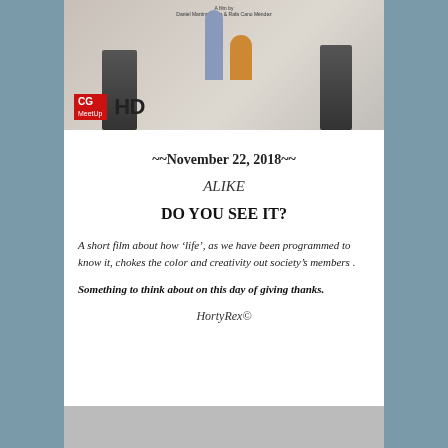[Figure (illustration): Animated short film still showing two cartoon characters (a tall blue figure and a small orange creature) flanked by tall stacks of items, with CG MeetUp HD branding overlay in bottom left]
~~November 22, 2018~~
ALIKE
DO YOU SEE IT?
A short film about how ‘life’, as we have been programmed to know it, chokes the color and creativity out society’s members .
Something to think about on this day of giving thanks.
HortyRex©
[Figure (photo): Partial bottom image, cropped off at page edge]